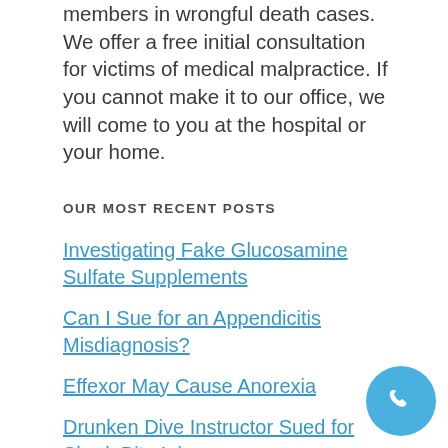members in wrongful death cases. We offer a free initial consultation for victims of medical malpractice. If you cannot make it to our office, we will come to you at the hospital or your home.
OUR MOST RECENT POSTS
Investigating Fake Glucosamine Sulfate Supplements
Can I Sue for an Appendicitis Misdiagnosis?
Effexor May Cause Anorexia
Drunken Dive Instructor Sued for Shark Bite Injury